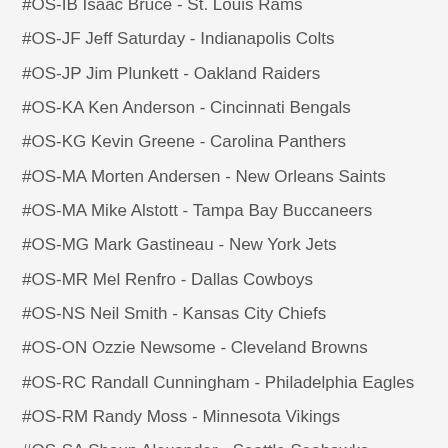#OS-IB Isaac Bruce - St. Louis Rams
#OS-JF Jeff Saturday - Indianapolis Colts
#OS-JP Jim Plunkett - Oakland Raiders
#OS-KA Ken Anderson - Cincinnati Bengals
#OS-KG Kevin Greene - Carolina Panthers
#OS-MA Morten Andersen - New Orleans Saints
#OS-MA Mike Alstott - Tampa Bay Buccaneers
#OS-MG Mark Gastineau - New York Jets
#OS-MR Mel Renfro - Dallas Cowboys
#OS-NS Neil Smith - Kansas City Chiefs
#OS-ON Ozzie Newsome - Cleveland Browns
#OS-RC Randall Cunningham - Philadelphia Eagles
#OS-RM Randy Moss - Minnesota Vikings
#OS-SA Shaun Alexander - Seattle Seahawks